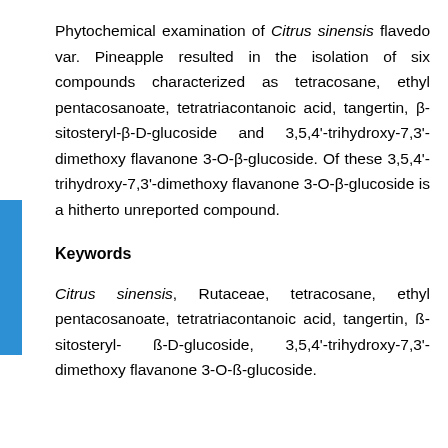Phytochemical examination of Citrus sinensis flavedo var. Pineapple resulted in the isolation of six compounds characterized as tetracosane, ethyl pentacosanoate, tetratriacontanoic acid, tangertin, β-sitosteryl-β-D-glucoside and 3,5,4'-trihydroxy-7,3'-dimethoxy flavanone 3-O-β-glucoside. Of these 3,5,4'-trihydroxy-7,3'-dimethoxy flavanone 3-O-β-glucoside is a hitherto unreported compound.
Keywords
Citrus sinensis, Rutaceae, tetracosane, ethyl pentacosanoate, tetratriacontanoic acid, tangertin, ß-sitosteryl- ß-D-glucoside, 3,5,4'-trihydroxy-7,3'-dimethoxy flavanone 3-O-ß-glucoside.